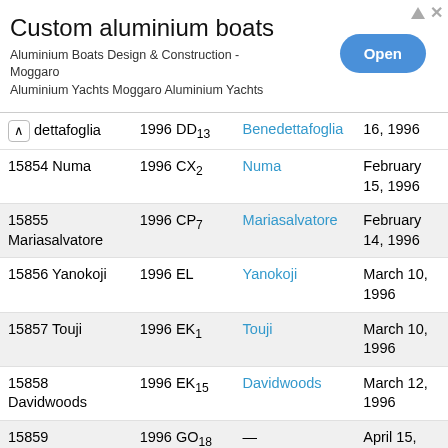[Figure (other): Advertisement banner for custom aluminium boats - Moggaro Aluminium Yachts with an Open button]
| # | Designation | Named after | Date |
| --- | --- | --- | --- |
| ∧  dettafoglia | 1996 DD₁₃ | Benedettafoglia | 16, 1996 |
| 15854 Numa | 1996 CX₂ | Numa | February 15, 1996 |
| 15855 Mariasalvatore | 1996 CP₇ | Mariasalvatore | February 14, 1996 |
| 15856 Yanokoji | 1996 EL | Yanokoji | March 10, 1996 |
| 15857 Touji | 1996 EK₁ | Touji | March 10, 1996 |
| 15858 Davidwoods | 1996 EK₁₅ | Davidwoods | March 12, 1996 |
| 15859 | 1996 GO₁₈ | — | April 15, 1996 |
| 15860 Siráň | 1996 HO | Siráň | April 20, 1996 |
| 15861 Ispahan | 1996 HB₁₂ | Ispahan | April 17, 1996 |
| 15862 | 1996 HJ₁₅ | — | April 17, 1996 |